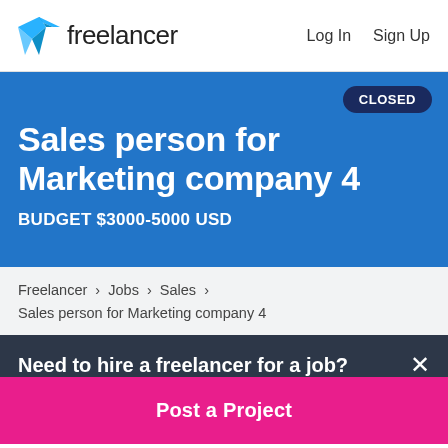Freelancer  Log In  Sign Up
Sales person for Marketing company 4
BUDGET $3000-5000 USD
CLOSED
Freelancer › Jobs › Sales › Sales person for Marketing company 4
Need to hire a freelancer for a job?
Post a Project